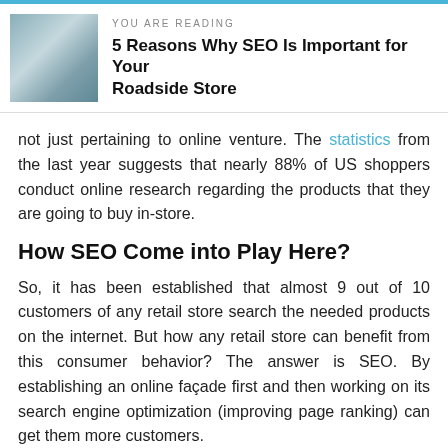YOU ARE READING
5 Reasons Why SEO Is Important for Your Roadside Store
not just pertaining to online venture. The statistics from the last year suggests that nearly 88% of US shoppers conduct online research regarding the products that they are going to buy in-store.
How SEO Come into Play Here?
So, it has been established that almost 9 out of 10 customers of any retail store search the needed products on the internet. But how any retail store can benefit from this consumer behavior? The answer is SEO. By establishing an online façade first and then working on its search engine optimization (improving page ranking) can get them more customers.
A business with good SEO in place appears on the first page of the search engine when consumers run a related query. This will increase the chances of a business to get noticed by the